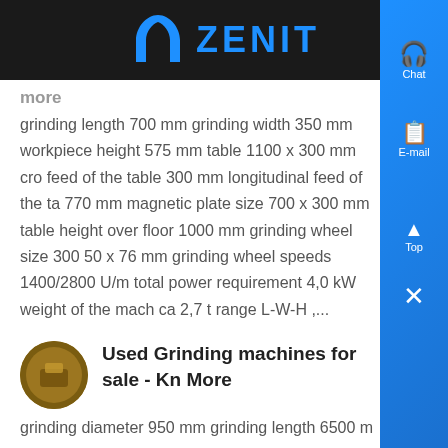ZENIT
more
grinding length 700 mm grinding width 350 mm workpiece height 575 mm table 1100 x 300 mm cross feed of the table 300 mm longitudinal feed of the table 770 mm magnetic plate size 700 x 300 mm table height over floor 1000 mm grinding wheel size 300 x 50 x 76 mm grinding wheel speeds 1400/2800 U/m total power requirement 4,0 kW weight of the machine ca 2,7 t range L-W-H ,...
Used Grinding machines for sale - Kn More
grinding diameter 950 mm grinding length 6500 mm swing diameter 1000 mm workpiece weight 18 t grinding wheel peripheral speeds 36 m/s longitudinal...